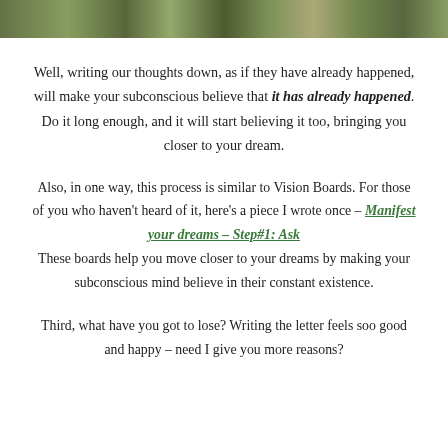[Figure (photo): Partial photo strip at the top of the page showing an outdoor garden or nature scene with green foliage and plants.]
Well, writing our thoughts down, as if they have already happened, will make your subconscious believe that it has already happened. Do it long enough, and it will start believing it too, bringing you closer to your dream.
Also, in one way, this process is similar to Vision Boards. For those of you who haven't heard of it, here's a piece I wrote once – Manifest your dreams – Step#1: Ask These boards help you move closer to your dreams by making your subconscious mind believe in their constant existence.
Third, what have you got to lose? Writing the letter feels soo good and happy – need I give you more reasons?